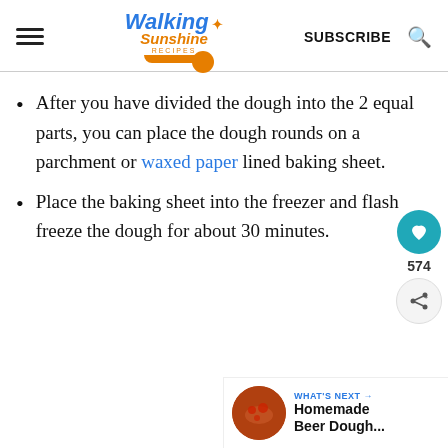Walking Sunshine Recipes | SUBSCRIBE
After you have divided the dough into the 2 equal parts, you can place the dough rounds on a parchment or waxed paper lined baking sheet.
Place the baking sheet into the freezer and flash freeze the dough for about 30 minutes.